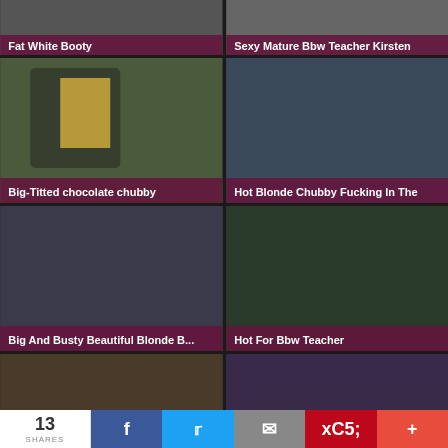[Figure (photo): Thumbnail image with caption 'Fat White Booty']
[Figure (photo): Thumbnail image with caption 'Sexy Mature Bbw Teacher Kirsten']
[Figure (photo): Thumbnail image with caption 'Big-Titted chocolate chubby']
[Figure (photo): Thumbnail image with caption 'Hot Blonde Chubby Fucking In The']
[Figure (photo): Thumbnail image with caption 'Big And Busty Beautiful Blonde B...']
[Figure (photo): Thumbnail image with caption 'Hot For Bbw Teacher']
[Figure (photo): Partial thumbnail image at bottom left]
[Figure (photo): Partial thumbnail image at bottom right]
13 SHARES | Facebook | Twitter | Email | Pinterest | Plus